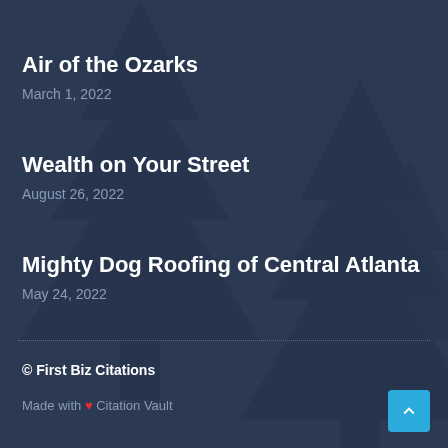Air of the Ozarks
March 1, 2022
Wealth on Your Street
August 26, 2022
Mighty Dog Roofing of Central Atlanta
May 24, 2022
© First Biz Citations
Made with ❤ Citation Vault